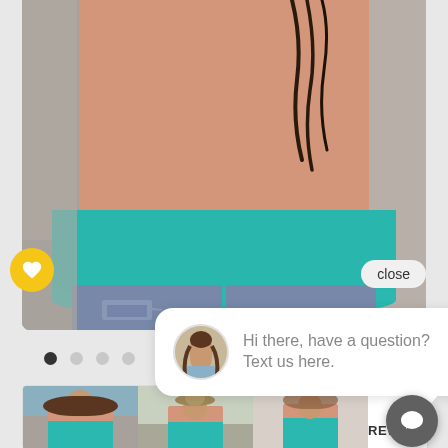[Figure (photo): Product photo of a woman wearing a color-block knit sweater in peach/salmon top and teal/turquoise bottom band, paired with distressed jeans. The torso and lower portion of the model is shown from roughly chest to thigh level.]
[Figure (screenshot): Chat widget popup with avatar of a woman and message text: Hi there, have a question? Text us here. Also shows close button, heart/favorite button, pagination dots, thumbnail strip with 3 product photos, REWARDS button, and circular chat icon button.]
Hi there, have a question? Text us here.
close
REWARDS